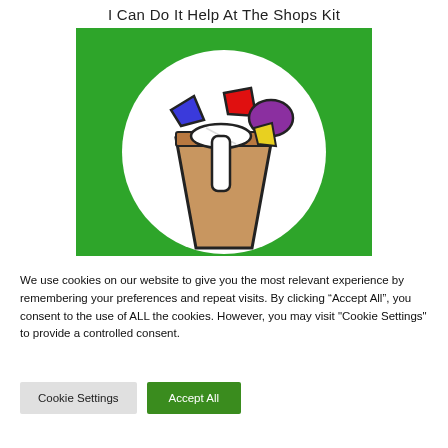I Can Do It Help At The Shops Kit
[Figure (illustration): Illustration on a green background: a white circle containing a brown paper shopping bag overflowing with colourful grocery items including a blue item, red item, white baguette/bread, purple item, and yellow item.]
We use cookies on our website to give you the most relevant experience by remembering your preferences and repeat visits. By clicking “Accept All”, you consent to the use of ALL the cookies. However, you may visit "Cookie Settings" to provide a controlled consent.
Cookie Settings
Accept All